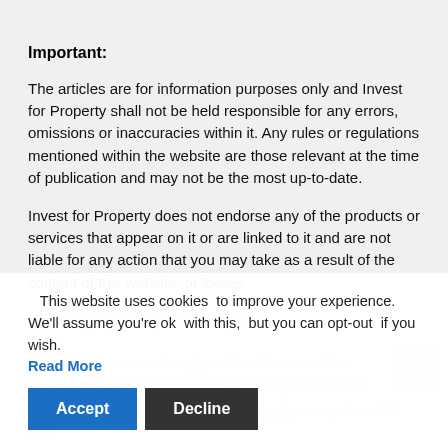Important:
The articles are for information purposes only and Invest for Property shall not be held responsible for any errors, omissions or inaccuracies within it. Any rules or regulations mentioned within the website are those relevant at the time of publication and may not be the most up-to-date.
Invest for Property does not endorse any of the products or services that appear on it or are linked to it and are not liable for any action that you may take as a result of the content of this website, or losses or damage you may incur doing so.
This website uses cookies to improve your experience. We'll assume you're ok with this, but you can opt-out if you wish. Read More
Therefore, you are strongly advised to consult a professional adviser before making any investment decisions.
Please remember that investments of any type may rise or fall and